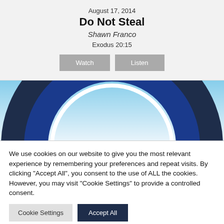August 17, 2014
Do Not Steal
Shawn Franco
Exodus 20:15
[Figure (illustration): Church logo — concentric arc shapes in dark navy and blue on a light blue gradient background]
We use cookies on our website to give you the most relevant experience by remembering your preferences and repeat visits. By clicking "Accept All", you consent to the use of ALL the cookies. However, you may visit "Cookie Settings" to provide a controlled consent.